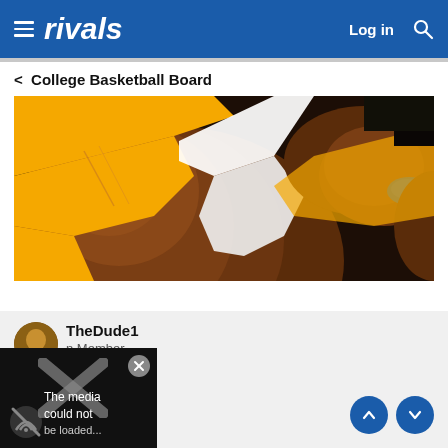rivals — Log in
< College Basketball Board
[Figure (photo): Close-up photo of a basketball player in a yellow/gold Lakers jersey, showing the shoulder and arm area]
[Figure (screenshot): Media error overlay: icon with slash, X close button, text 'The media could not be loaded']
TheDude1
n Member